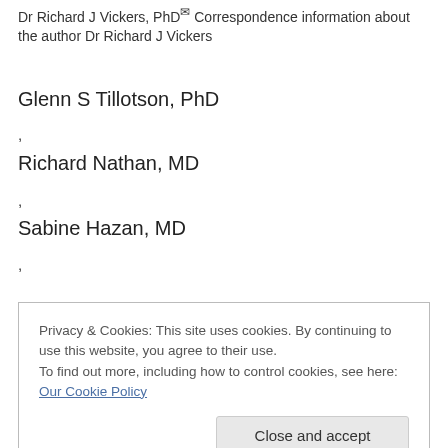Dr Richard J Vickers, PhD — Correspondence information about the author Dr Richard J Vickers
Glenn S Tillotson, PhD
,
Richard Nathan, MD
,
Sabine Hazan, MD
,
Privacy & Cookies: This site uses cookies. By continuing to use this website, you agree to their use. To find out more, including how to control cookies, see here: Our Cookie Policy